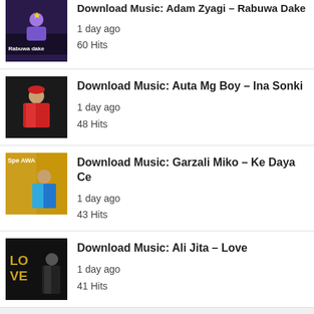Download Music: Auta Mg Boy – Ina Sonki
1 day ago
48 Hits
Download Music: Garzali Miko – Ke Daya Ce
1 day ago
43 Hits
Download Music: Ali Jita – Love
1 day ago
41 Hits
© Copyright 2021 - DLhausaNovels
Disclaimer - Contact Us